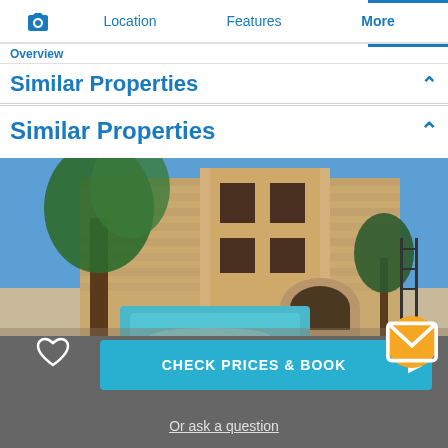Overview  Location  Features  More
Similar Properties
Similar Properties
[Figure (photo): Stone villa with courtyard, swimming pool, olive tree, terracotta pots, arched doorways, blue sky]
CHECK PRICES & BOOK
Or ask a question